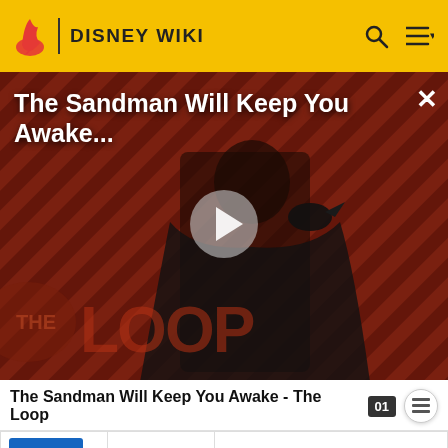DISNEY WIKI
[Figure (screenshot): Video thumbnail for 'The Sandman Will Keep You Awake - The Loop' showing a person in black cape against striped red/brown background with THE LOOP watermark and a play button overlay]
The Sandman Will Keep You Awake - The Loop
| Image | Year | Description |
| --- | --- | --- |
| [blue thumbnail] |  |  |
| [Winnie the Pooh image] | 1997 | Re-released as part of the "Winnie the Pooh: Storybook Classics" |